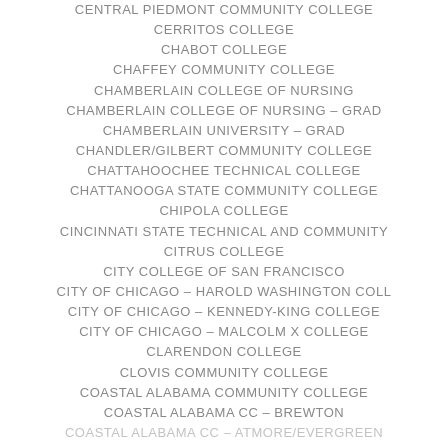CENTRAL PIEDMONT COMMUNITY COLLEGE
CERRITOS COLLEGE
CHABOT COLLEGE
CHAFFEY COMMUNITY COLLEGE
CHAMBERLAIN COLLEGE OF NURSING
CHAMBERLAIN COLLEGE OF NURSING – GRAD
CHAMBERLAIN UNIVERSITY – GRAD
CHANDLER/GILBERT COMMUNITY COLLEGE
CHATTAHOOCHEE TECHNICAL COLLEGE
CHATTANOOGA STATE COMMUNITY COLLEGE
CHIPOLA COLLEGE
CINCINNATI STATE TECHNICAL AND COMMUNITY
CITRUS COLLEGE
CITY COLLEGE OF SAN FRANCISCO
CITY OF CHICAGO – HAROLD WASHINGTON COLL
CITY OF CHICAGO – KENNEDY-KING COLLEGE
CITY OF CHICAGO – MALCOLM X COLLEGE
CLARENDON COLLEGE
CLOVIS COMMUNITY COLLEGE
COASTAL ALABAMA COMMUNITY COLLEGE
COASTAL ALABAMA CC – BREWTON
COASTAL ALABAMA CC – ATMORE/EVERGREEN